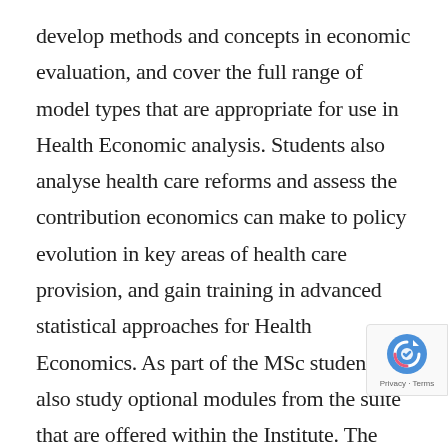develop methods and concepts in economic evaluation, and cover the full range of model types that are appropriate for use in Health Economic analysis. Students also analyse health care reforms and assess the contribution economics can make to policy evolution in key areas of health care provision, and gain training in advanced statistical approaches for Health Economics. As part of the MSc students also study optional modules from the suite that are offered within the Institute. The final component of the programme is a dissertation which allows the student to conduct a piece of research which is focussed on a topic that is of particular interest. There is a recognised shortage of health economics expertise globally
[Figure (other): reCAPTCHA badge widget in the bottom-right corner showing the reCAPTCHA logo with Privacy and Terms text]